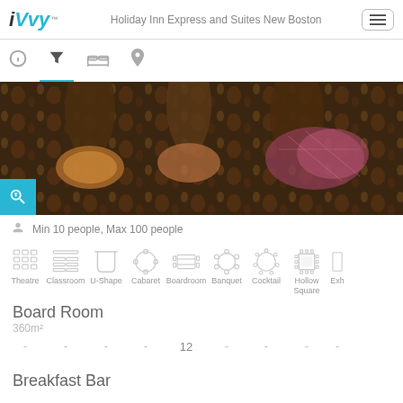iVvy — Holiday Inn Express and Suites New Boston
[Figure (photo): Photo of hotel banquet/meeting room chairs with decorative carpet, viewed from above]
Min 10 people, Max 100 people
[Figure (infographic): Meeting room setup icons: Theatre, Classroom, U-Shape, Cabaret, Boardroom, Banquet, Cocktail, Hollow Square, Exhibition]
Board Room
360m²
| Theatre | Classroom | U-Shape | Cabaret | Boardroom | Banquet | Cocktail | Hollow Square | Exh |
| --- | --- | --- | --- | --- | --- | --- | --- | --- |
| - | - | - | - | 12 | - | - | - | - |
Breakfast Bar
| Theatre | Classroom | U-Shape | Cabaret | Boardroom | Banquet | Cocktail | Hollow Square | Exh |
| --- | --- | --- | --- | --- | --- | --- | --- | --- |
| - | - | - | - | - | - | - | - | - |